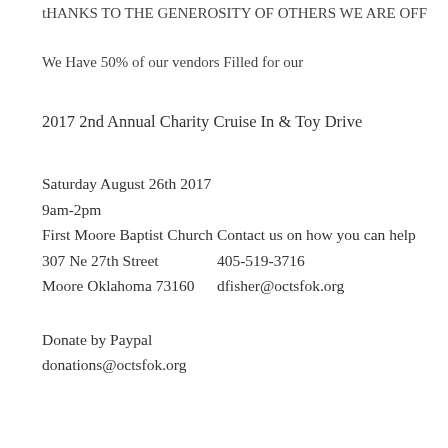tHANKS TO THE GENEROSITY OF OTHERS WE ARE OFF
We Have 50% of our vendors Filled for our
2017 2nd Annual Charity Cruise In & Toy Drive
Saturday August 26th 2017
9am-2pm
First Moore Baptist Church
307 Ne 27th Street
Moore Oklahoma 73160
Contact us on how you can help
405-519-3716
dfisher@octsfok.org
Donate by Paypal
donations@octsfok.org